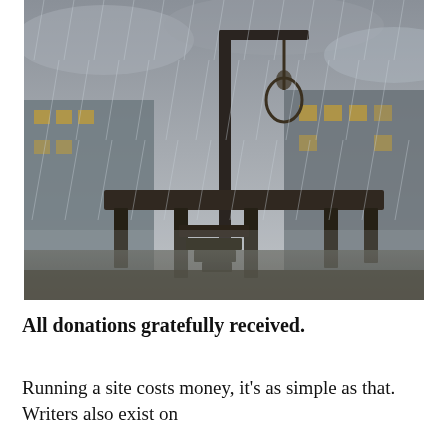[Figure (photo): A dark, rainy scene showing a gallows/scaffold structure in the foreground with a noose hanging from a wooden post. In the background are dark buildings with small lit windows. The atmosphere is gloomy and overcast with rain visible.]
All donations gratefully received.
Running a site costs money, it's as simple as that. Writers also exist on